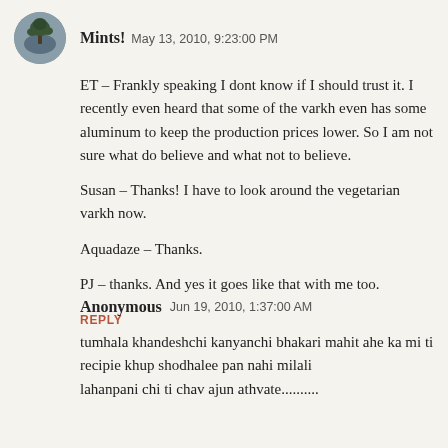[Figure (photo): Circular avatar image showing a tree/bonsai silhouette against a grey sky background]
Mints!  May 13, 2010, 9:23:00 PM
ET – Frankly speaking I dont know if I should trust it. I recently even heard that some of the varkh even has some aluminum to keep the production prices lower. So I am not sure what do believe and what not to believe.
Susan – Thanks! I have to look around the vegetarian varkh now.
Aquadaze – Thanks.
PJ – thanks. And yes it goes like that with me too.
REPLY
Anonymous  Jun 19, 2010, 1:37:00 AM
tumhala khandeshchi kanyanchi bhakari mahit ahe ka mi ti recipie khup shodhalee pan nahi milali
lahanpani chi ti chav ajun athvate..........